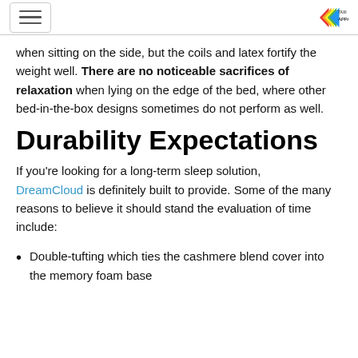[hamburger menu] [TaxiApparel logo]
when sitting on the side, but the coils and latex fortify the weight well. There are no noticeable sacrifices of relaxation when lying on the edge of the bed, where other bed-in-the-box designs sometimes do not perform as well.
Durability Expectations
If you’re looking for a long-term sleep solution, DreamCloud is definitely built to provide. Some of the many reasons to believe it should stand the evaluation of time include:
Double-tufting which ties the cashmere blend cover into the memory foam base